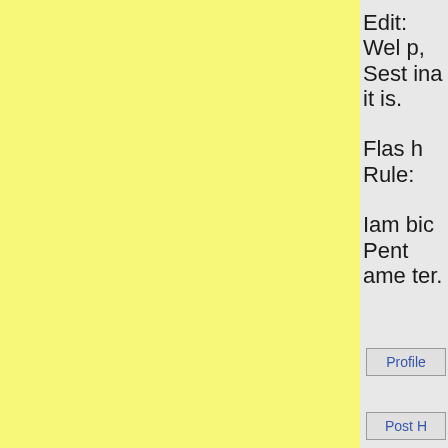[Figure (other): Yellow textured panel on left side of page]
Edit: Welp, Sestina it is.

Flash Rule:

Iambic Pentameter.
Profile
Post H